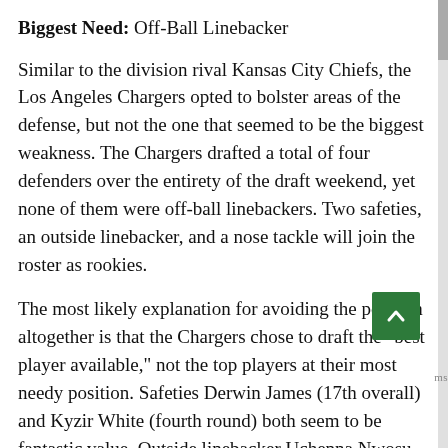Biggest Need: Off-Ball Linebacker
Similar to the division rival Kansas City Chiefs, the Los Angeles Chargers opted to bolster areas of the defense, but not the one that seemed to be the biggest weakness. The Chargers drafted a total of four defenders over the entirety of the draft weekend, yet none of them were off-ball linebackers. Two safeties, an outside linebacker, and a nose tackle will join the roster as rookies.
The most likely explanation for avoiding the position altogether is that the Chargers chose to draft the "best player available," not the top players at their most needy position. Safeties Derwin James (17th overall) and Kyzir White (fourth round) both seem to be fantastic value. Outside linebacker Uchenna Nwosu and defensive tackle Justin Jones were each selected in a fair range for their respective probable landing spots.